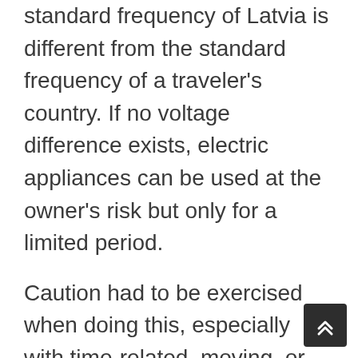standard frequency of Latvia is different from the standard frequency of a traveler's country. If no voltage difference exists, electric appliances can be used at the owner's risk but only for a limited period.
Caution had to be exercised when doing this, especially with time-related, moving, or rotating appliances such as clocks, shavers, or electric fan heaters.
Some appliances are free from voltage issues, and they include chargers of laptops, tablets, cell phones, phone…